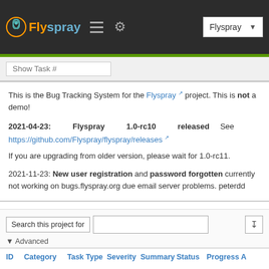Flyspray — Bug Tracking System header with logo, hamburger menu, gear icon, and Flyspray dropdown
Show Task #
This is the Bug Tracking System for the Flyspray project. This is not a demo!
2021-04-23: Flyspray 1.0-rc10 released See https://github.com/Flyspray/flyspray/releases
If you are upgrading from older version, please wait for 1.0-rc11.
2021-11-23: New user registration and password forgotten currently not working on bugs.flyspray.org due email server problems. peterdd
Search this project for
▼ Advanced
| ID | Category | Task Type | Severity | Summary | Status | Progress | A |
| --- | --- | --- | --- | --- | --- | --- | --- |